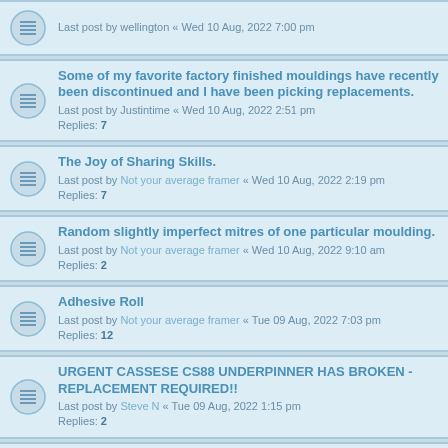Last post by wellington « Wed 10 Aug, 2022 7:00 pm
Some of my favorite factory finished mouldings have recently been discontinued and I have been picking replacements. Last post by Justintime « Wed 10 Aug, 2022 2:51 pm Replies: 7
The Joy of Sharing Skills. Last post by Not your average framer « Wed 10 Aug, 2022 2:19 pm Replies: 7
Random slightly imperfect mitres of one particular moulding. Last post by Not your average framer « Wed 10 Aug, 2022 9:10 am Replies: 2
Adhesive Roll Last post by Not your average framer « Tue 09 Aug, 2022 7:03 pm Replies: 12
URGENT CASSESE CS88 UNDERPINNER HAS BROKEN - REPLACEMENT REQUIRED!! Last post by Steve N « Tue 09 Aug, 2022 1:15 pm Replies: 2
Wizard 8000 computerised mount cutting machine and PC - On Ebay Last post by Coastalframes « Tue 09 Aug, 2022 8:23 am Replies: 2
Wanted! A&T Moulding Last post by pinkcat « Tue 09 Aug, 2022 7:17 am
Morso Adjustment of Height